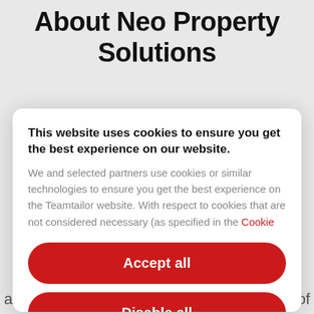About Neo Property Solutions
This website uses cookies to ensure you get the best experience on our website.
We and selected partners use cookies or similar technologies to ensure you get the best experience on the Teamtailor website. With respect to cookies that are not considered necessary (as specified in the Cookie...
Accept all
Disable all
Cookie preferences
across multi-occupancy housing, buildings of